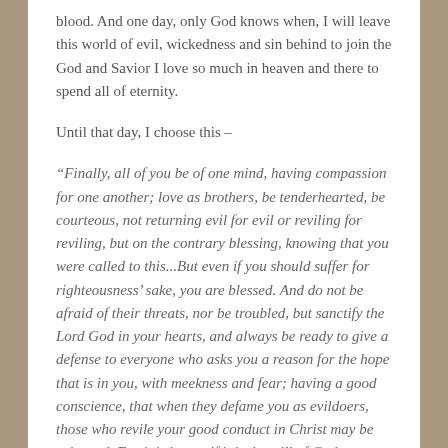blood. And one day, only God knows when, I will leave this world of evil, wickedness and sin behind to join the God and Savior I love so much in heaven and there to spend all of eternity.
Until that day, I choose this –
“Finally, all of you be of one mind, having compassion for one another; love as brothers, be tenderhearted, be courteous, not returning evil for evil or reviling for reviling, but on the contrary blessing, knowing that you were called to this...But even if you should suffer for righteousness’ sake, you are blessed. And do not be afraid of their threats, nor be troubled, but sanctify the Lord God in your hearts, and always be ready to give a defense to everyone who asks you a reason for the hope that is in you, with meekness and fear; having a good conscience, that when they defame you as evildoers, those who revile your good conduct in Christ may be ashamed. For it is better, if it is the will of God, to suffer for doing good than for doing evil.”